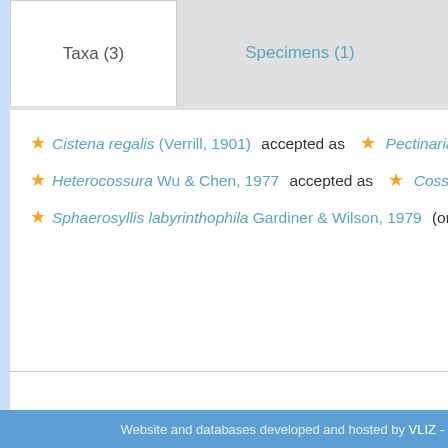Taxa (3)   Specimens (1)   Notes (5)
★ Cistena regalis (Verrill, 1901) accepted as ★ Pectinaria regalis Ver...
★ Heterocossura Wu & Chen, 1977 accepted as ★ Cossura Webster...
★ Sphaerosyllis labyrinthophila Gardiner & Wilson, 1979 (original desc...
Website and databases developed and hosted by VLIZ -